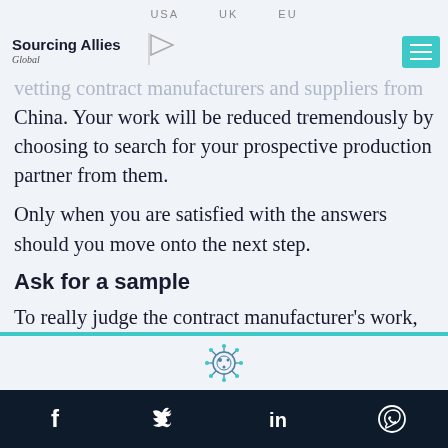USA   UK   EU
[Figure (logo): Sourcing Allies Global logo with triangle/flag symbol]
vetting contract manufacturers and suppliers from China. Your work will be reduced tremendously by choosing to search for your prospective production partner from them.
Only when you are satisfied with the answers should you move onto the next step.
Ask for a sample
To really judge the contract manufacturer's work, ask for a sample that matches the purchase order
[Figure (illustration): Virus/COVID-19 icon illustration]
Facebook Twitter LinkedIn WhatsApp social media icons